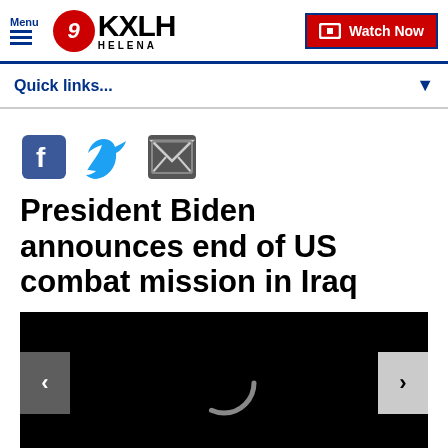Menu | 9KXLH HELENA | Watch Now
Quick links...
[Figure (other): Social share icons: Facebook, Twitter, Email]
President Biden announces end of US combat mission in Iraq
[Figure (photo): Dark/black image placeholder with left and right navigation arrows and a loading spinner in the center]